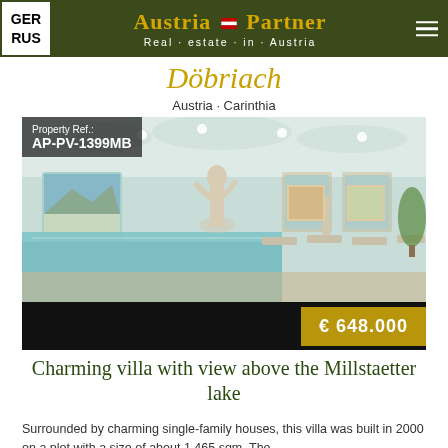GER RUS — Austria Partner Real-estate in Austria
Döbriach
Austria · Carinthia
[Figure (photo): Interior photo of a luxury indoor pool area with classical statues, loungers, and large windows with mountain views. Property Ref.: AP-PV-1399MB]
€ 648.000
Charming villa with view above the Millstaetter lake
Surrounded by charming single-family houses, this villa was built in 2000 on a plot with a size of about 1.465 sqm. The